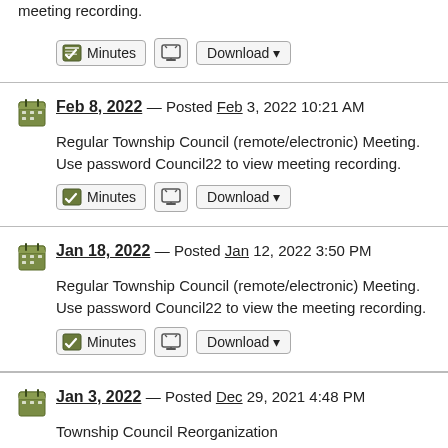meeting recording.
Minutes | Download
Feb 8, 2022 — Posted Feb 3, 2022 10:21 AM
Regular Township Council (remote/electronic) Meeting. Use password Council22 to view meeting recording.
Minutes | Download
Jan 18, 2022 — Posted Jan 12, 2022 3:50 PM
Regular Township Council (remote/electronic) Meeting. Use password Council22 to view the meeting recording.
Minutes | Download
Jan 3, 2022 — Posted Dec 29, 2021 4:48 PM
Township Council Reorganization